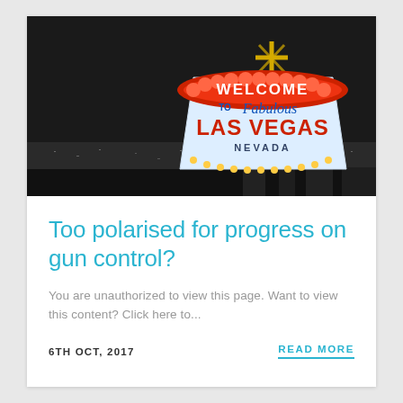[Figure (photo): Night aerial photo of the Welcome to Fabulous Las Vegas Nevada neon sign illuminated in red and blue against a dark sky with city lights in background]
Too polarised for progress on gun control?
You are unauthorized to view this page. Want to view this content? Click here to...
6TH OCT, 2017
READ MORE